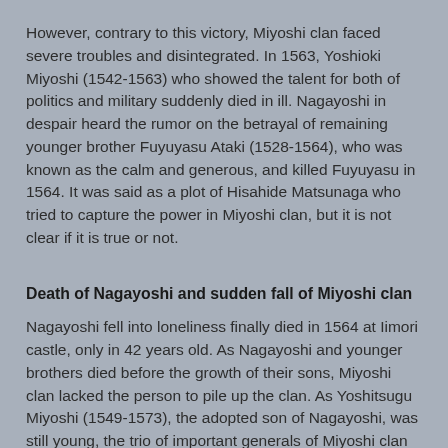However, contrary to this victory, Miyoshi clan faced severe troubles and disintegrated. In 1563, Yoshioki Miyoshi (1542-1563) who showed the talent for both of politics and military suddenly died in ill. Nagayoshi in despair heard the rumor on the betrayal of remaining younger brother Fuyuyasu Ataki (1528-1564), who was known as the calm and generous, and killed Fuyuyasu in 1564. It was said as a plot of Hisahide Matsunaga who tried to capture the power in Miyoshi clan, but it is not clear if it is true or not.
Death of Nagayoshi and sudden fall of Miyoshi clan
Nagayoshi fell into loneliness finally died in 1564 at Iimori castle, only in 42 years old. As Nagayoshi and younger brothers died before the growth of their sons, Miyoshi clan lacked the person to pile up the clan. As Yoshitsugu Miyoshi (1549-1573), the adopted son of Nagayoshi, was still young, the trio of important generals of Miyoshi clan and Hisahide Matsunaga managed Miyoshi clan, and killed Yoshiteru Ashikaga.